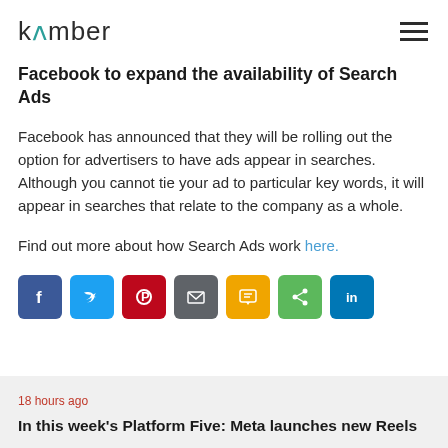kamber
Facebook to expand the availability of Search Ads
Facebook has announced that they will be rolling out the option for advertisers to have ads appear in searches. Although you cannot tie your ad to particular key words, it will appear in searches that relate to the company as a whole.
Find out more about how Search Ads work here.
[Figure (other): Social sharing icons: Facebook, Twitter, Pinterest, Email, SMS, Share, LinkedIn]
18 hours ago
In this week's Platform Five: Meta launches new Reels